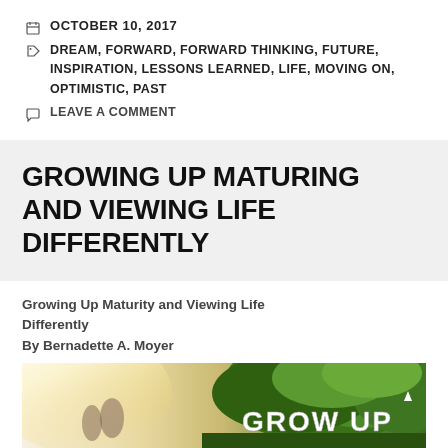OCTOBER 10, 2017
DREAM, FORWARD, FORWARD THINKING, FUTURE, INSPIRATION, LESSONS LEARNED, LIFE, MOVING ON, OPTIMISTIC, PAST
LEAVE A COMMENT
GROWING UP MATURING AND VIEWING LIFE DIFFERENTLY
Growing Up Maturity and Viewing Life Differently
By Bernadette A. Moyer
[Figure (photo): Photograph with 'GROW UP' text overlaid on green foliage with bright light on the left side]